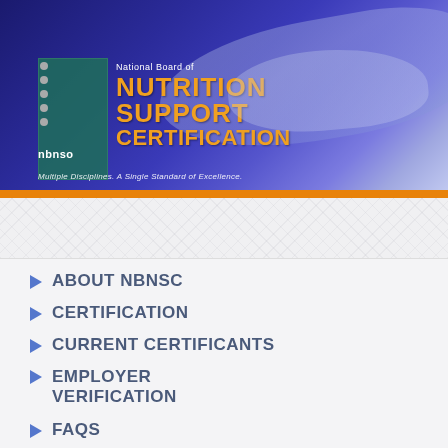[Figure (logo): National Board of Nutrition Support Certification (NBNSC) logo on blue gradient banner with orange bar]
ABOUT NBNSC
CERTIFICATION
CURRENT CERTIFICANTS
EMPLOYER VERIFICATION
FAQS
LINKS